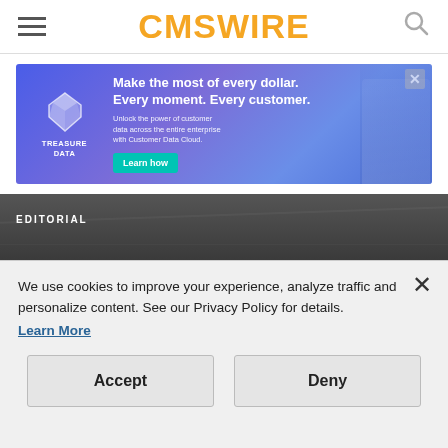CMSWIRE
[Figure (other): Treasure Data advertisement banner: 'Make the most of every dollar. Every moment. Every customer. Unlock the power of customer data across the entire enterprise with Customer Data Cloud. Learn how']
EDITORIAL
Turn Knowledge Management Inside Out: Bring in the Customer
We use cookies to improve your experience, analyze traffic and personalize content. See our Privacy Policy for details. Learn More
Accept
Deny